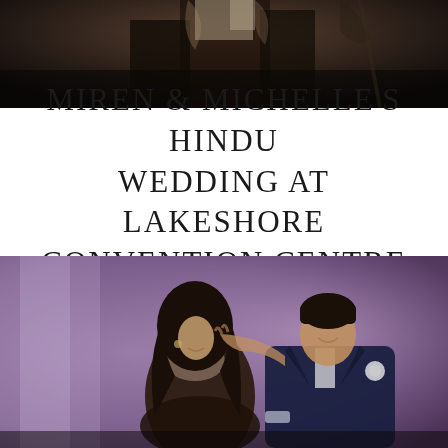[Figure (photo): Dark indoor photo from above showing a Hindu wedding ceremony with figures in traditional attire]
MIREN & MICHELLE'S HINDU WEDDING AT LAKESHORE CONVENTION CENTRE
[Figure (photo): A couple sharing a romantic moment on a dance floor with purple/mauve lighting backdrop. The woman has long dark hair and the man wears a navy suit with a white boutonniere.]